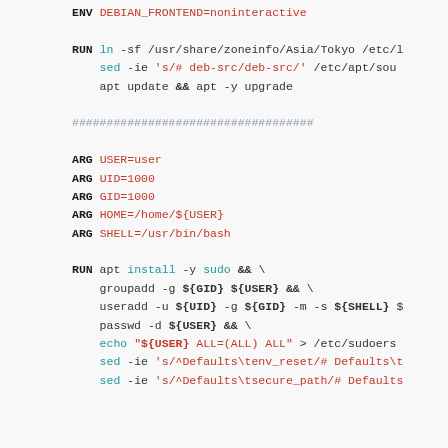ENV DEBIAN_FRONTEND=noninteractive
RUN ln -sf /usr/share/zoneinfo/Asia/Tokyo /etc/l
    sed -ie 's/# deb-src/deb-src/' /etc/apt/sou
    apt update && apt -y upgrade
###################################
ARG USER=user
ARG UID=1000
ARG GID=1000
ARG HOME=/home/${USER}
ARG SHELL=/usr/bin/bash
RUN apt install -y sudo && \
    groupadd -g ${GID} ${USER} && \
    useradd -u ${UID} -g ${GID} -m -s ${SHELL} $
    passwd -d ${USER} && \
    echo "${USER} ALL=(ALL) ALL" > /etc/sudoers
    sed -ie 's/^Defaults\tenv_reset/# Defaults\t
    sed -ie 's/^Defaults\tsecure_path/# Defaults